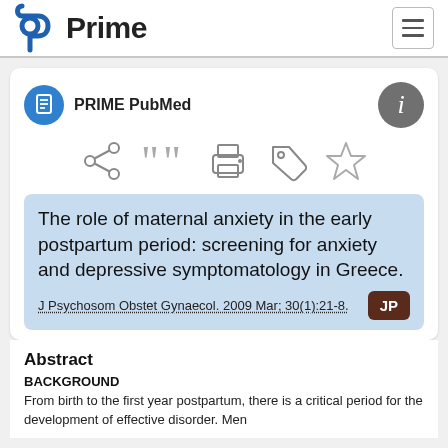Prime PubMed
PRIME PubMed
[Figure (other): Toolbar icons: share, cite, print, tag, star]
The role of maternal anxiety in the early postpartum period: screening for anxiety and depressive symptomatology in Greece.
J Psychosom Obstet Gynaecol. 2009 Mar; 30(1):21-8.
Abstract
BACKGROUND
From birth to the first year postpartum, there is a critical period for the development of effective disorder. Men...